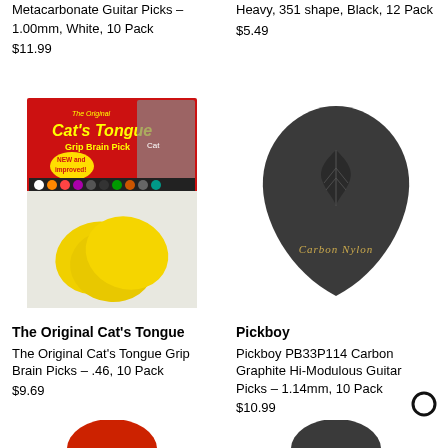Metacarbonate Guitar Picks – 1.00mm, White, 10 Pack
$11.99
Heavy, 351 shape, Black, 12 Pack
$5.49
[Figure (photo): The Original Cat's Tongue Grip Brain Pick product packaging — red header with cat image, yellow guitar picks shown in clear plastic bag]
[Figure (photo): Pickboy dark grey/black guitar pick with marijuana leaf logo and 'Carbon Nylon' text in gold lettering]
The Original Cat's Tongue
The Original Cat's Tongue Grip Brain Picks – .46, 10 Pack
$9.69
Pickboy
Pickboy PB33P114 Carbon Graphite Hi-Modulous Guitar Picks – 1.14mm, 10 Pack
$10.99
[Figure (photo): Partial view of a red guitar pick at bottom of page]
[Figure (photo): Partial view of a dark guitar pick at bottom of page]